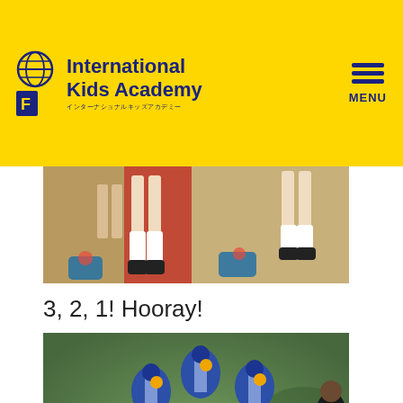International Kids Academy
[Figure (photo): Partial photo showing children's legs and feet on a red carpet, with blue baskets on the floor]
3, 2, 1! Hooray!
[Figure (photo): Aerial view of children in blue and white graduation gowns with yellow accessories, standing in a circle]
[Figure (infographic): International Kids Academy contact bar with phone number 052-858-3933]